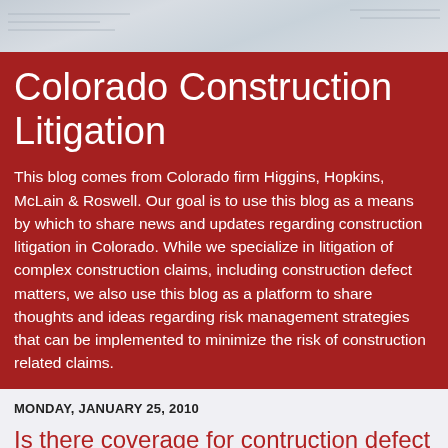[Figure (photo): Background photo strip showing blueprint/construction documents in light gray tones]
Colorado Construction Litigation
This blog comes from Colorado firm Higgins, Hopkins, McLain & Roswell. Our goal is to use this blog as a means by which to share news and updates regarding construction litigation in Colorado. While we specialize in litigation of complex construction claims, including construction defect matters, we also use this blog as a platform to share thoughts and ideas regarding risk management strategies that can be implemented to minimize the risk of construction related claims.
MONDAY, JANUARY 25, 2010
Is there coverage for contruction defect claims in Colorado? Part 2: Did we go